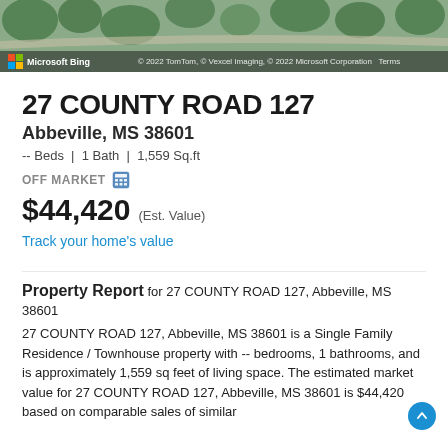[Figure (screenshot): Microsoft Bing aerial map image showing a property location with copyright notice: © 2022 TomTom, © Vexcel Imaging, © 2022 Microsoft Corporation, Terms]
27 COUNTY ROAD 127
Abbeville, MS 38601
-- Beds | 1 Bath | 1,559 Sq.ft
OFF MARKET
$44,420 (Est. Value)
Track your home's value
Property Report for 27 COUNTY ROAD 127, Abbeville, MS 38601
27 COUNTY ROAD 127, Abbeville, MS 38601 is a Single Family Residence / Townhouse property with -- bedrooms, 1 bathrooms, and is approximately 1,559 sq feet of living space. The estimated market value for 27 COUNTY ROAD 127, Abbeville, MS 38601 is $44,420 based on comparable sales of similar